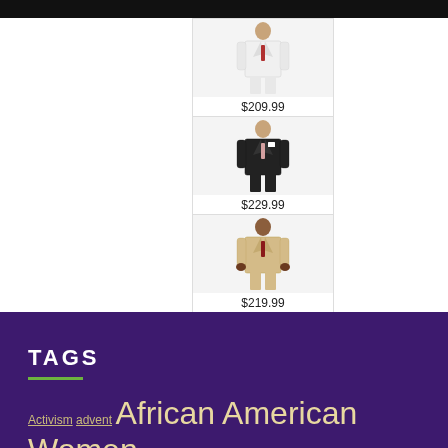[Figure (photo): Product image of a man in a white suit, priced at $209.99]
$209.99
[Figure (photo): Product image of a man in a black suit, priced at $229.99]
$229.99
[Figure (photo): Product image of a man in a tan/khaki suit, priced at $219.99]
$219.99
TAGS
Activism  advent  African American Women